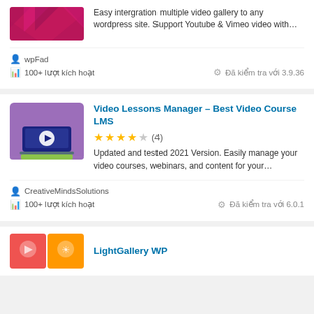Easy intergration multiple video gallery to any wordpress site. Support Youtube & Vimeo video with…
wpFad
100+ lượt kích hoạt
Đã kiểm tra với 3.9.36
[Figure (illustration): Purple laptop with video play button icon on a purple background]
Video Lessons Manager – Best Video Course LMS
★★★★☆ (4)
Updated and tested 2021 Version. Easily manage your video courses, webinars, and content for your…
CreativeMindsSolutions
100+ lượt kích hoạt
Đã kiểm tra với 6.0.1
LightGallery WP